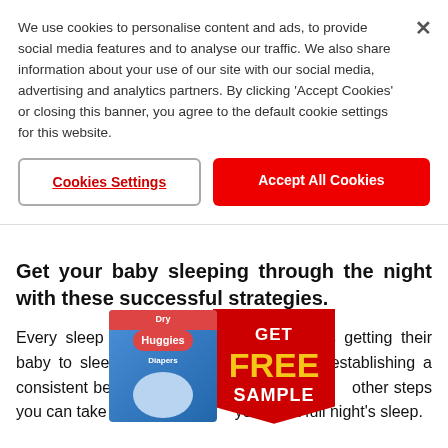We use cookies to personalise content and ads, to provide social media features and to analyse our traffic. We also share information about your use of our site with our social media, advertising and analytics partners. By clicking 'Accept Cookies' or closing this banner, you agree to the default cookie settings for this website.
Cookies Settings
Accept All Cookies
Get your baby sleeping through the night with these successful strategies.
Every sleep deprived parent's holy grail is getting their baby to sleep through the night. Besides establishing a consistent bedtime h other steps you can take to enc you get a full night's sleep.
[Figure (infographic): Huggies Dry Diapers pack image alongside a red banner advertisement saying GET FREE SAMPLE]